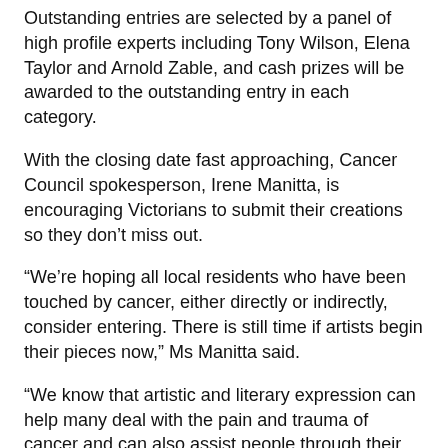Outstanding entries are selected by a panel of high profile experts including Tony Wilson, Elena Taylor and Arnold Zable, and cash prizes will be awarded to the outstanding entry in each category.
With the closing date fast approaching, Cancer Council spokesperson, Irene Manitta, is encouraging Victorians to submit their creations so they don't miss out.
“We’re hoping all local residents who have been touched by cancer, either directly or indirectly, consider entering. There is still time if artists begin their pieces now,” Ms Manitta said.
“We know that artistic and literary expression can help many deal with the pain and trauma of cancer and can also assist people through their cancer journey.”